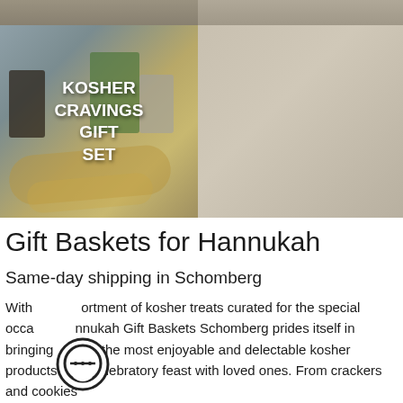[Figure (photo): Product photo: Kosher Cravings Gift Set with a charcuterie/cheese board set and various kosher food items, overlaid white bold text reading 'KOSHER CRAVINGS GIFT SET'. Gray background. Two partial images visible at top.]
Gift Baskets for Hannukah
Same-day shipping in Schomberg
With an assortment of kosher treats curated for the special occasion, Hannukah Gift Baskets Schomberg prides itself in bringing you the most enjoyable and delectable kosher products for a celebratory feast with loved ones. From crackers and cookies